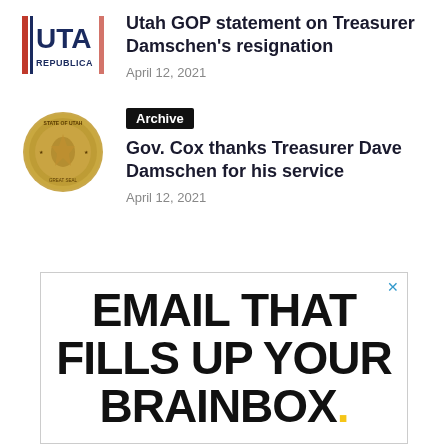[Figure (logo): Utah Republican Party logo, partial view showing 'UTA' and 'REPUBLICA' text]
Utah GOP statement on Treasurer Damschen's resignation
April 12, 2021
[Figure (logo): Utah Governor's official seal, circular gold emblem]
Archive
Gov. Cox thanks Treasurer Dave Damschen for his service
April 12, 2021
[Figure (infographic): Advertisement reading 'EMAIL THAT FILLS UP YOUR BRAINBOX.' with a yellow dot after BRAINBOX]